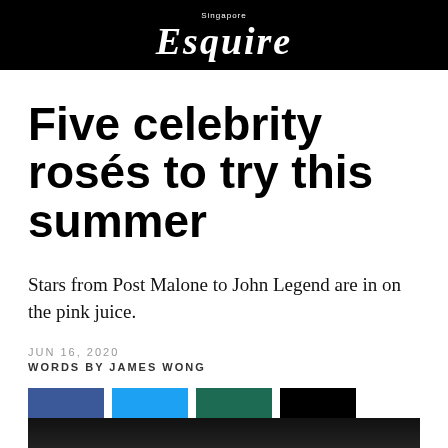Singapore Esquire
Five celebrity rosés to try this summer
Stars from Post Malone to John Legend are in on the pink juice.
JUN 16, 2020
WORDS BY JAMES WONG
[Figure (other): Four social media sharing icon buttons: Facebook (dark blue), Twitter (light blue), WhatsApp/Pinterest (dark teal/green), and Email/share (black)]
[Figure (photo): Bottom portion of a dark photograph, appears to be a person or subject emerging from very dark background, partially cropped at page bottom]